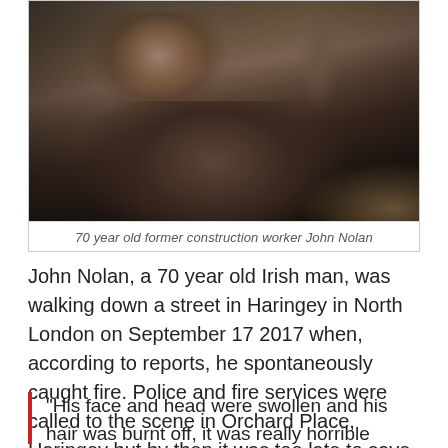[Figure (photo): Photo of a 70 year old man, John Nolan, a former construction worker, seated indoors. The image is darkly lit showing an elderly man in a suit jacket.]
70 year old former construction worker John Nolan
John Nolan, a 70 year old Irish man, was walking down a street in Haringey in North London on September 17 2017 when, according to reports, he spontaneously caught fire. Police and fire services were called to the scene in Orchard Place, Haringey but by then it was too late to save him.
“His face and head were swollen and his hair was burnt off, it was really horrible stuff,” says Mr